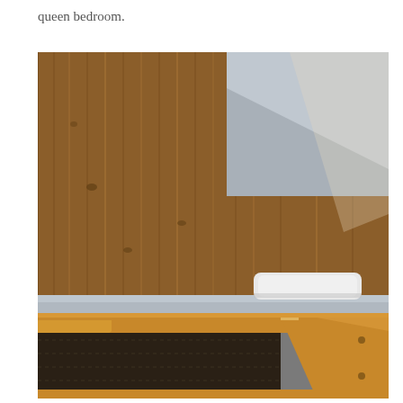queen bedroom.
[Figure (photo): Interior photo of a bunk bed with wooden frame set against a wood-paneled wall. The upper bunk has a white pillow visible. The wooden frame shows angled supports with bolt holes. The ceiling slants downward showing an attic or loft-style room.]